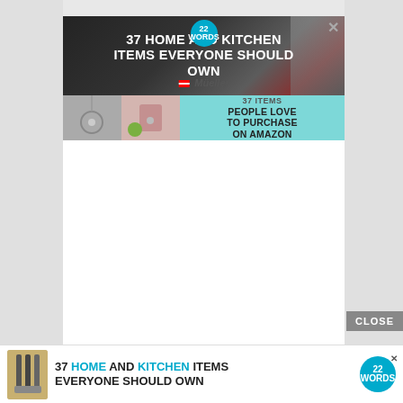[Figure (screenshot): Advertisement banner: '37 HOME AND KITCHEN ITEMS EVERYONE SHOULD OWN' with Mueller knife sharpener product image, 22 Words logo, and a second section showing '37 ITEMS PEOPLE LOVE TO PURCHASE ON AMAZON' with lifestyle product images on a teal background.]
[Figure (screenshot): Bottom sticky advertisement bar: '37 HOME AND KITCHEN ITEMS EVERYONE SHOULD OWN' with kitchen knives thumbnail image and 22 Words circular logo.]